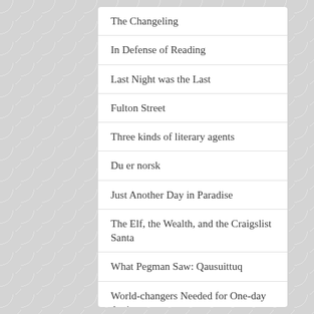The Changeling
In Defense of Reading
Last Night was the Last
Fulton Street
Three kinds of literary agents
Du er norsk
Just Another Day in Paradise
The Elf, the Wealth, and the Craigslist Santa
What Pegman Saw: Qausuittuq
World-changers Needed for One-day Assignment